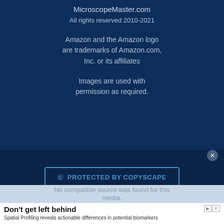MicroscopeMaster.com
All rights reserved 2010-2021
Amazon and the Amazon logo are trademarks of Amazon.com, Inc. or its affiliates
Images are used with permission as required.
[Figure (logo): Protected by Copyscape badge/button]
No compatible source was found for this media.
Don't get left behind
Spatial Profiling reveals actionable differences in potential biomarkers
nanostring.com
Learn More